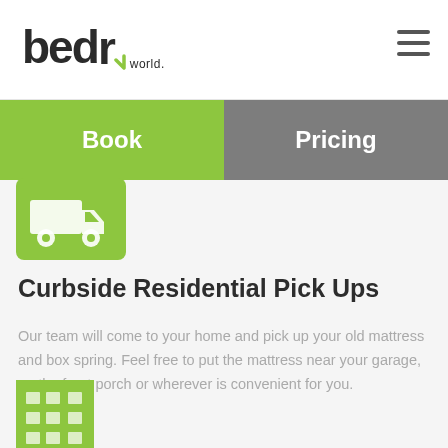bed world.
Book
Pricing
[Figure (illustration): Green delivery truck icon on green rounded rectangle background]
Curbside Residential Pick Ups
Our team will come to your home and pick up your old mattress and box spring. Feel free to put the mattress near your garage, on the front porch or wherever is convenient for you.
[Figure (illustration): Green building/apartment icon partially visible at bottom of page]